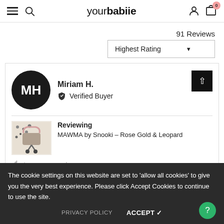yourbabiie — navigation header with menu, search, account, cart (0)
91 Reviews
Highest Rating
MH
Miriam H.
Verified Buyer
Reviewing
MAWMA by Snooki – Rose Gold & Leopard
I recommend
The cookie settings on this website are set to 'allow all cookies' to give you the very best experience. Please click Accept Cookies to continue to use the site.
PRIVACY POLICY
ACCEPT ✓